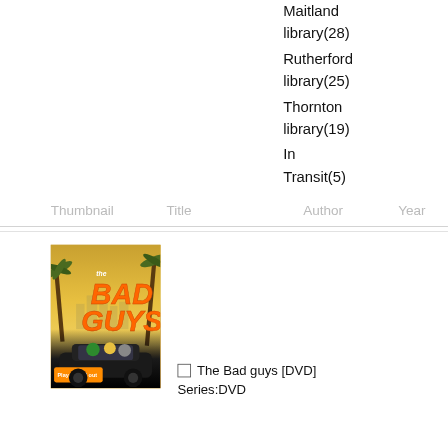Maitland library(28)
Rutherford library(25)
Thornton library(19)
In Transit(5)
| Thumbnail | Title | Author | Year |
| --- | --- | --- | --- |
[Figure (photo): DVD cover of The Bad Guys animated film showing characters in a car with orange title text]
The Bad guys [DVD] Series:DVD